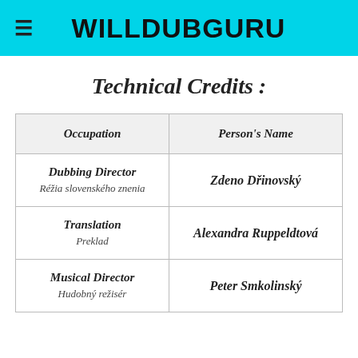WILLDUBGURU
Technical Credits :
| Occupation | Person's Name |
| --- | --- |
| Dubbing Director
Réžia slovenského znenia | Zdeno Dřinovský |
| Translation
Preklad | Alexandra Ruppeldtová |
| Musical Director
Hudobný režisér | Peter Smkolinský |